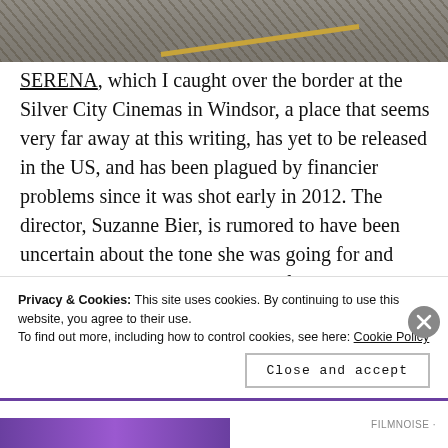[Figure (photo): Top portion of a road photograph showing asphalt with a yellow center line, partial view cropped at top of page.]
SERENA, which I caught over the border at the Silver City Cinemas in Windsor, a place that seems very far away at this writing, has yet to be released in the US, and has been plagued by financier problems since it was shot early in 2012. The director, Suzanne Bier, is rumored to have been uncertain about the tone she was going for and how to tell the story. And some of that
Privacy & Cookies: This site uses cookies. By continuing to use this website, you agree to their use.
To find out more, including how to control cookies, see here: Cookie Policy
Close and accept